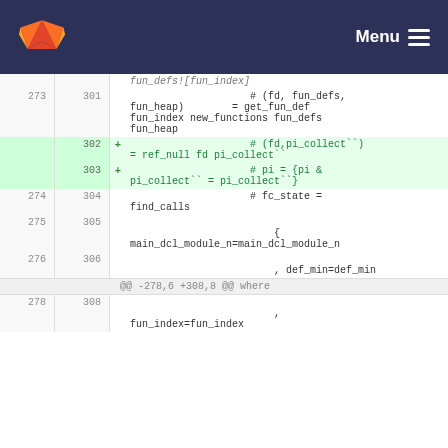Menu
[Figure (screenshot): GitLab code diff view showing Haskell source code. Lines 273-278 (old) and 301-308 (new) are shown. Added lines 302-303 are highlighted in green, showing pi_collect and ref_null additions.]